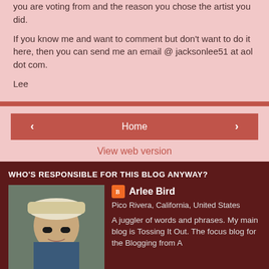you are voting from and the reason you chose the artist you did.
If you know me and want to comment but don't want to do it here, then you can send me an email @ jacksonlee51 at aol dot com.
Lee
[Figure (other): Navigation bar with left arrow, Home button, and right arrow buttons, followed by View web version link]
WHO'S RESPONSIBLE FOR THIS BLOG ANYWAY?
[Figure (photo): Photo of Arlee Bird wearing a hat and sunglasses]
Arlee Bird
Pico Rivera, California, United States
A juggler of words and phrases. My main blog is Tossing It Out. The focus blog for the Blogging from A to Z April Challenge can now be found at a-to-zchallenge.com where updates will be posted until the event in April begins. Wrote By Rote is...